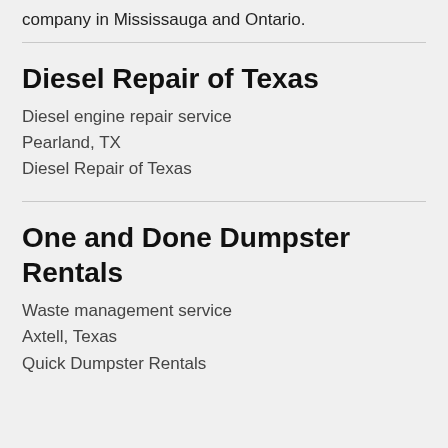company in Mississauga and Ontario.
Diesel Repair of Texas
Diesel engine repair service
Pearland, TX
Diesel Repair of Texas
One and Done Dumpster Rentals
Waste management service
Axtell, Texas
Quick Dumpster Rentals